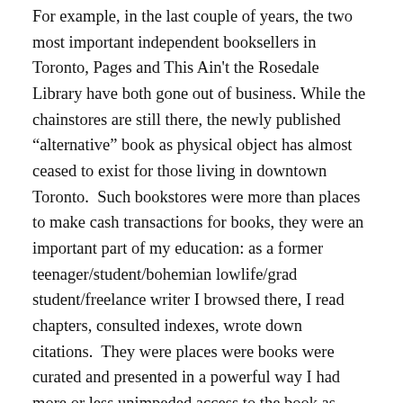For example, in the last couple of years, the two most important independent booksellers in Toronto, Pages and This Ain't the Rosedale Library have both gone out of business. While the chainstores are still there, the newly published "alternative" book as physical object has almost ceased to exist for those living in downtown Toronto.  Such bookstores were more than places to make cash transactions for books, they were an important part of my education: as a former teenager/student/bohemian lowlife/grad student/freelance writer I browsed there, I read chapters, consulted indexes, wrote down citations.  They were places were books were curated and presented in a powerful way I had more or less unimpeded access to the book as object.  Probably if I'd tried to photograph pages from a book it wouldn't have gone so well, but it never occurred to me to do that.  And if I really needed to copy more, I would have searched the libraries and then copied a chapter while at work. Or actually bought the book, if I had the money.